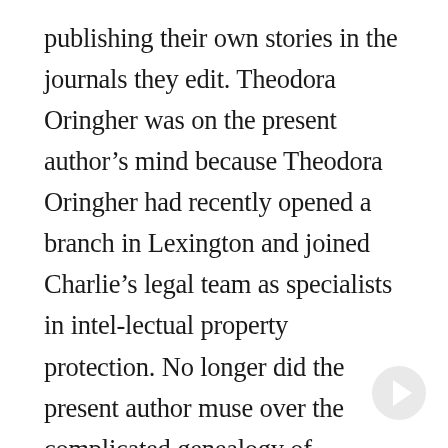publishing their own stories in the journals they edit. Theodora Oringher was on the present author's mind because Theodora Oringher had recently opened a branch in Lexington and joined Charlie's legal team as specialists in intellectual property protection. No longer did the present author muse over the complicated genealogy of Theodora Oringher. Who had courted whom? Who made the first move? None of these questions occupied the present author. Now the present author pondered the relationship between oil futures and the wholesale cost of foam. He pondered the flame that burns the candle and the candle that feeds the flame. His